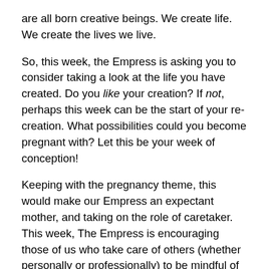are all born creative beings. We create life. We create the lives we live.
So, this week, the Empress is asking you to consider taking a look at the life you have created. Do you like your creation? If not, perhaps this week can be the start of your re-creation. What possibilities could you become pregnant with? Let this be your week of conception!
Keeping with the pregnancy theme, this would make our Empress an expectant mother, and taking on the role of caretaker. This week, The Empress is encouraging those of us who take care of others (whether personally or professionally) to be mindful of making sure we are also taking care of ourselves. When we practice good self-care, it puts us in a position to better care for those around us who need and depend on us.